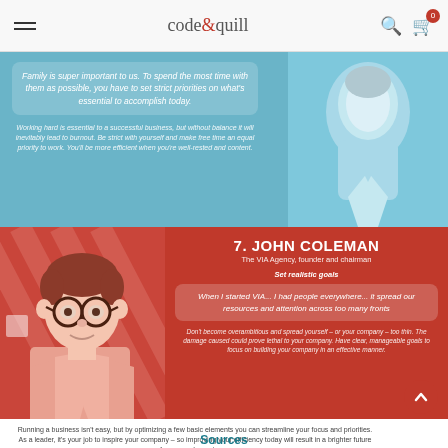code&quill
[Figure (illustration): Blue infographic section with illustrated person portrait on right side. Left side contains a quote bubble with italic text about family and priorities, and explanatory text about work-life balance.]
Family is super important to us. To spend the most time with them as possible, you have to set strict priorities on what's essential to accomplish today.
Working hard is essential to a successful business, but without balance it will inevitably lead to burnout. Be strict with yourself and make free time an equal priority to work. You'll be more efficient when you're well-rested and content.
[Figure (illustration): Red infographic section with illustrated portrait of John Coleman wearing glasses on the left, diagonal stripe background pattern. Right side shows name, title, subheader 'Set realistic goals', quote bubble, and explanatory text.]
7. JOHN COLEMAN
The VIA Agency, founder and chairman
Set realistic goals
When I started VIA... I had people everywhere... it spread our resources and attention across too many fronts
Don't become overambitious and spread yourself – or your company – too thin. The damage caused could prove lethal to your company. Have clear, manageable goals to focus on building your company in an effective manner.
Running a business isn't easy, but by optimizing a few basic elements you can streamline your focus and priorities.

As a leader, it's your job to inspire your company – so improving your efficiency today will result in a brighter future for you and your team.
Sources